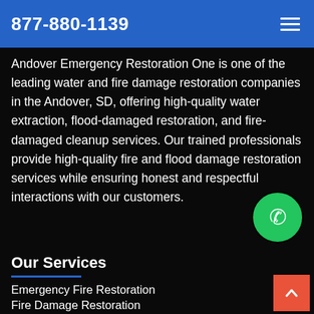877-880-1139
Andover Emergency Restoration One is one of the leading water and fire damage restoration companies in the Andover, SD, offering high-quality water extraction, flood-damaged restoration, and fire-damaged cleanup services. Our trained professionals provide high-quality fire and flood damage restoration services while ensuring honest and respectful interactions with our customers.
[Figure (illustration): Green circular phone/call button icon]
Our Services
Emergency Fire Restoration
Fire Damage Restoration
Fire Smoke Damage Restoration
[Figure (illustration): Orange/red back-to-top arrow button in bottom right corner]